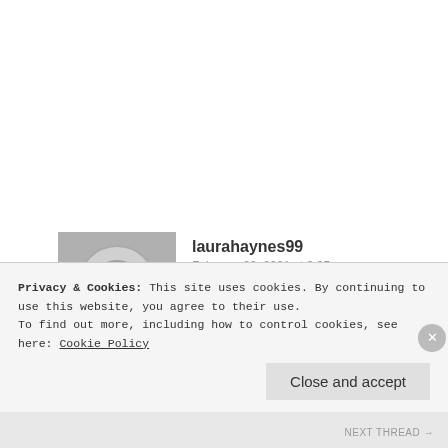[Figure (photo): Black and white photo of an astronaut in a spacesuit and helmet, used as a user avatar for laurahaynes99]
laurahaynes99
February 22, 2021 at 3:05 pm
👍 0 👎 0 ℹ Rate This
Probably a bit obvious but here you go https://lauraelizahaynes.wordpress.com/2021/02/22/times-unbound/
Privacy & Cookies: This site uses cookies. By continuing to use this website, you agree to their use.
To find out more, including how to control cookies, see here: Cookie Policy
Close and accept